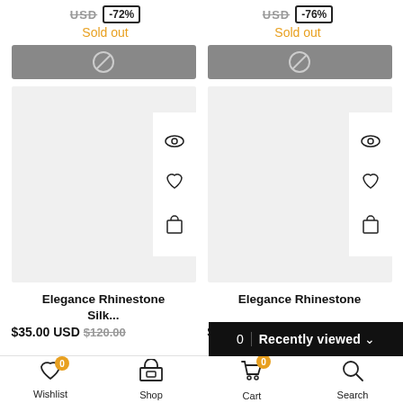USD -72% Sold out
USD -76% Sold out
[Figure (screenshot): Gray sold-out button with slash icon, left product]
[Figure (screenshot): Gray sold-out button with slash icon, right product]
[Figure (screenshot): Product image card placeholder with eye, heart, and cart icons, left]
[Figure (screenshot): Product image card placeholder with eye, heart, and cart icons, right]
Elegance Rhinestone Silk...
Elegance Rhinestone
$35.00 USD $120.00
$3...
0 | Recently viewed
Wishlist   Shop   Cart   Search